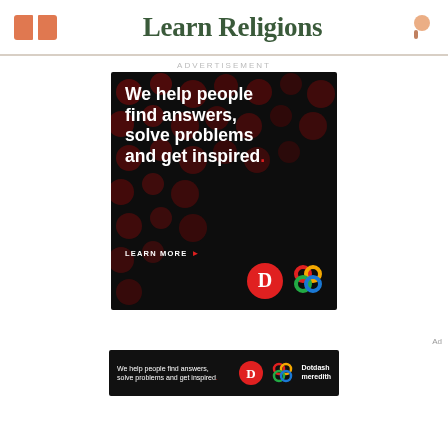Learn Religions
Advertisement
[Figure (screenshot): Dotdash Meredith advertisement banner on black background with dark red dot pattern. Text reads: 'We help people find answers, solve problems and get inspired.' with LEARN MORE button and Dotdash/Meredith logos.]
[Figure (screenshot): Smaller Dotdash Meredith advertisement banner strip: 'We help people find answers, solve problems and get inspired.' with Dotdash and Meredith logos.]